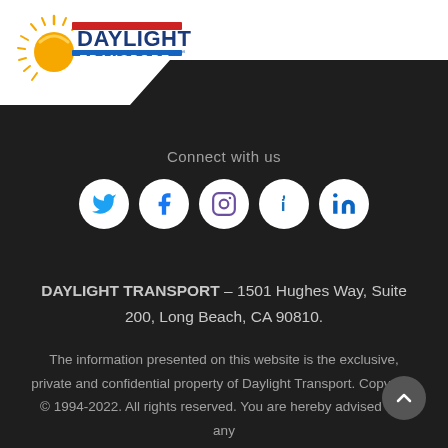[Figure (logo): Daylight Transport logo with sun graphic, red and blue text on white background]
Connect with us
[Figure (infographic): Row of five social media icons: Twitter, Facebook, Instagram, (i icon), LinkedIn — white circles on dark background]
DAYLIGHT TRANSPORT – 1501 Hughes Way, Suite 200, Long Beach, CA 90810.
The information presented on this website is the exclusive, private and confidential property of Daylight Transport. Copyright © 1994-2022. All rights reserved. You are hereby advised that any